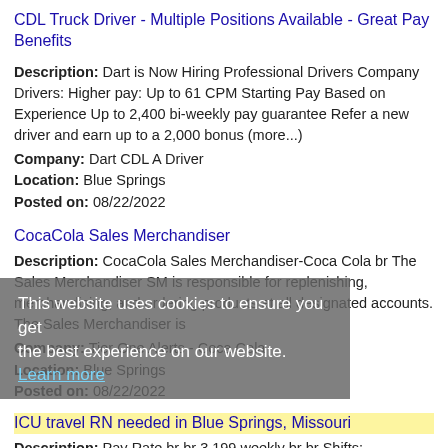CDL Truck Driver - Multiple Positions Available - Great Pay Benefits
Description: Dart is Now Hiring Professional Drivers Company Drivers: Higher pay: Up to 61 CPM Starting Pay Based on Experience Up to 2,400 bi-weekly pay guarantee Refer a new driver and earn up to a 2,000 bonus (more...)
Company: Dart CDL A Driver
Location: Blue Springs
Posted on: 08/22/2022
CocaCola Sales Merchandiser
Description: CocaCola Sales Merchandiser-Coca Cola br The Sales Merchandiser SM is responsible for replenishing, merchandising, and ordering products at all designated accounts. The Sales Merchandiser is
Company: Tier One Alerts - Coca Cola
Location: Blue Springs
Posted on: 08/22/2022
This website uses cookies to ensure you get the best experience on our website. Learn more
ICU travel RN needed in Blue Springs, Missouri
Description: Pay Rate br br 3,199 weekly br br Shifts:
Company: Cynet Health
Location: Blue Springs